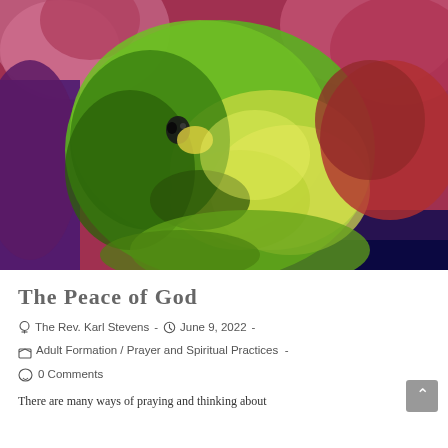[Figure (illustration): Abstract expressionist painting of a face with green, yellow, red, and purple tones — possibly depicting a figure in anguish or prayer]
The Peace of God
The Rev. Karl Stevens  -  June 9, 2022  -
Adult Formation / Prayer and Spiritual Practices  -
0 Comments
There are many ways of praying and thinking about